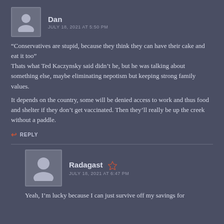Dan — JULY 18, 2021 AT 5:50 PM
“Conservatives are stupid, because they think they can have their cake and eat it too”
Thats what Ted Kaczynsky said didn’t he, but he was talking about something else, maybe eliminating nepotism but keeping strong family values.

It depends on the country, some will be denied access to work and thus food and shelter if they don’t get vaccinated. Then they’ll really be up the creek without a paddle.
REPLY
Radagast — JULY 18, 2021 AT 6:47 PM
Yeah, I’m lucky because I can just survive off my savings for...